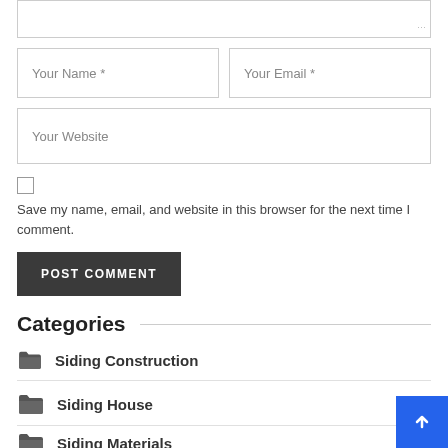[Figure (screenshot): Web form with textarea (partially visible at top), Name and Email input fields, Website input field, a save-info checkbox with label, POST COMMENT button]
Categories
Siding Construction
Siding House
Siding Materials